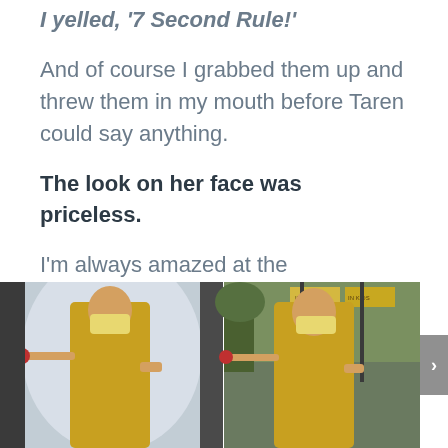I yelled, '7 Second Rule!'
And of course I grabbed them up and threw them in my mouth before Taren could say anything.
The look on her face was priceless.
I'm always amazed at the transformation a portrait goes through from before and after.
[Figure (photo): Before and after portrait comparison showing a woman wearing a yellow floral dress and face mask, holding a rose. Left image shows a studio backdrop setting; right image shows an outdoor street setting.]